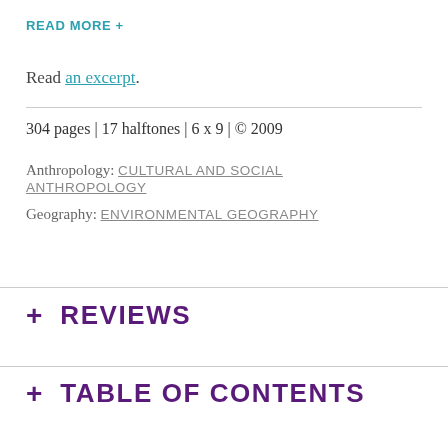READ MORE +
Read an excerpt.
304 pages | 17 halftones | 6 x 9 | © 2009
Anthropology: CULTURAL AND SOCIAL ANTHROPOLOGY
Geography: ENVIRONMENTAL GEOGRAPHY
+ REVIEWS
+ TABLE OF CONTENTS